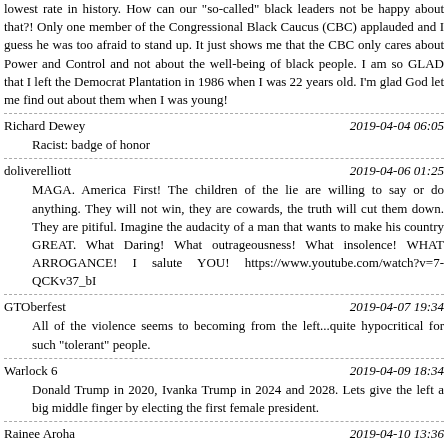lowest rate in history. How can our "so-called" black leaders not be happy about that?! Only one member of the Congressional Black Caucus (CBC) applauded and I guess he was too afraid to stand up. It just shows me that the CBC only cares about Power and Control and not about the well-being of black people. I am so GLAD that I left the Democrat Plantation in 1986 when I was 22 years old. I'm glad God let me find out about them when I was young!
Richard Dewey	2019-04-04 06:05
Racist: badge of honor
doliverelliott	2019-04-06 01:25
MAGA. America First! The children of the lie are willing to say or do anything. They will not win, they are cowards, the truth will cut them down. They are pitiful. Imagine the audacity of a man that wants to make his country GREAT. What Daring! What outrageousness! What insolence! WHAT ARROGANCE! I salute YOU! https://www.youtube.com/watch?v=7-QCKv37_bI
GTOberfest	2019-04-07 19:34
All of the violence seems to becoming from the left...quite hypocritical for such "tolerant" people.
Warlock 6	2019-04-09 18:34
Donald Trump in 2020, Ivanka Trump in 2024 and 2028. Lets give the left a big middle finger by electing the first female president.
Rainee Aroha	2019-04-10 13:36